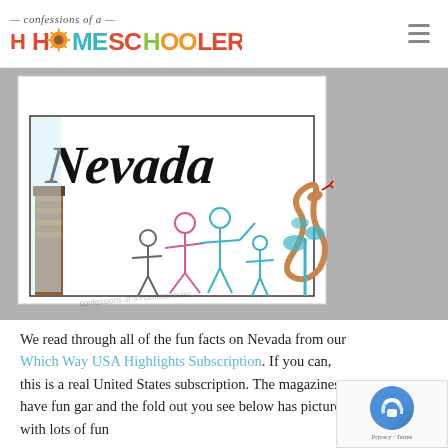confessions of a HOMESCHOOLER
[Figure (illustration): Child's hand-drawn illustration on white paper showing the word 'Nevada' in large decorative letters at the top, with stick figures of people (a family group with colorful outfits in pink, teal, gray) and a coiled snake in an orange/tan color on the right side, along with teal plant-like shapes. A watermark reads 'confessions of a Homeschooler'.]
We read through all of the fun facts on Nevada from our Which Way USA Highlights Subscription. If you can, this is a real United States subscription. The magazines have fun gar and the fold out you see below has pictures with lots of fun